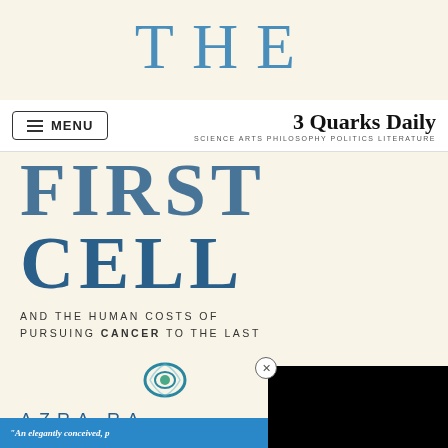THE
[Figure (screenshot): Navigation bar with MENU button on left and '3 Quarks Daily - SCIENCE ARTS PHILOSOPHY POLITICS LITERATURE' brand on right]
[Figure (photo): Book cover for 'THE FIRST CELL AND THE HUMAN COSTS OF PURSUING CANCER TO THE LAST' by AZRA RA[ZI], with blue serif title text on cream background, a cell illustration, and a blue banner with quote at bottom. A black video overlay and close button partially cover the right side.]